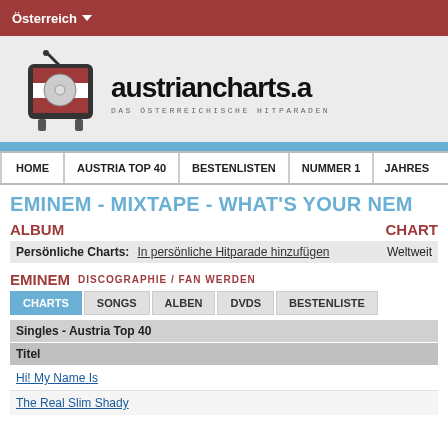Österreich
[Figure (logo): AustrianCharts.at logo with Austrian flag TV icon and site name 'austriancharts.a' with tagline 'DAS ÖSTERREICHISCHE HITPARADEN']
HOME | AUSTRIA TOP 40 | BESTENLISTEN | NUMMER 1 | JAHRES
EMINEM - MIXTAPE - WHAT'S YOUR NEM
ALBUM
Persönliche Charts: In persönliche Hitparade hinzufügen
CHART
Weltweit
EMINEM DISCOGRAPHIE / FAN WERDEN
CHARTS | SONGS | ALBEN | DVDS | BESTENLISTE
| Titel |
| --- |
| Hi! My Name Is |
| The Real Slim Shady |